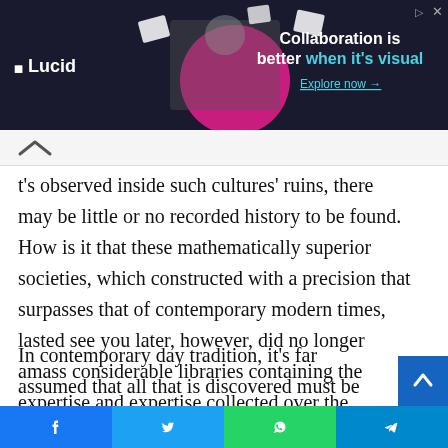[Figure (screenshot): Lucid advertisement banner with dark background, company logo on left, person with papers in center, and text 'Collaboration is better when it's visual' with 'Explore now →' link on right]
it's observed inside such cultures' ruins, there may be little or no recorded history to be found. How is it that these mathematically superior societies, which constructed with a precision that surpasses that of contemporary modern times, lasted see you later, however, did no longer amass considerable libraries containing the expertise and expertise collected over the centuries? Why is there no longer more than the few wall carvings and hieroglyphics observed on the sides of homes.
In contemporary day tradition, it's far assumed that all that is discovered must be recorded for posterity. The extra knowledge collected in the libraries of each lifestyle, the wis...
[Figure (screenshot): Social media share bar with Facebook, Twitter, WhatsApp, and Telegram buttons at bottom of page]